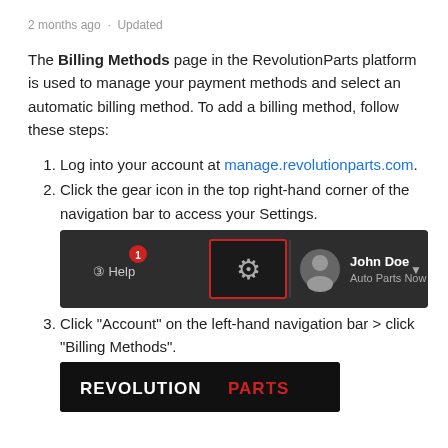2 months ago · Updated
The Billing Methods page in the RevolutionParts platform is used to manage your payment methods and select an automatic billing method. To add a billing method, follow these steps:
Log into your account at manage.revolutionparts.com.
Click the gear icon in the top right-hand corner of the navigation bar to access your Settings.
[Figure (screenshot): Screenshot of RevolutionParts navigation bar showing Help button with notification badge, gear/settings icon highlighted in red box, and user profile area showing John Doe - Auto Parts Now]
Click "Account" on the left-hand navigation bar > click "Billing Methods".
[Figure (screenshot): Screenshot of RevolutionParts logo on dark background, white REVOLUTION and red PARTS text]